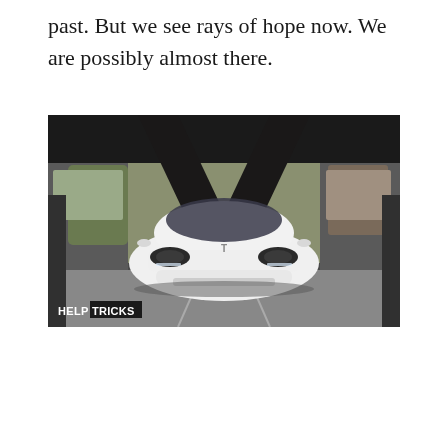past. But we see rays of hope now. We are possibly almost there.
[Figure (photo): Front view of a white Tesla Model 3 parked in a modern parking structure with architectural diagonal beams, trees visible in background. HELPTRICKS watermark in bottom left.]